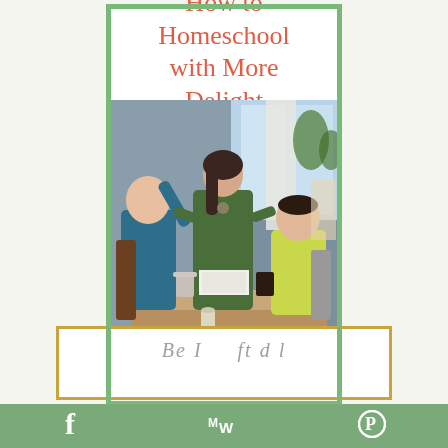How to Homeschool with More Delight
[Figure (photo): A woman in a green dress standing at a table with two boys, appearing to play a game or activity together in a home setting. One boy on left is high-fiving or reaching up, boy on right is seated in yellow shirt. Table has mugs and papers on it.]
Be I ft d l
f  MW  P